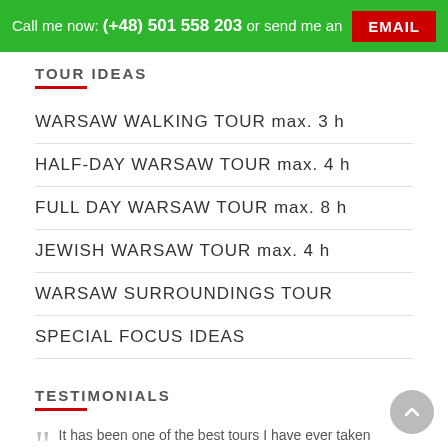Call me now: (+48) 501 558 203 or send me an EMAIL
TOUR IDEAS
WARSAW WALKING TOUR max. 3 h
HALF-DAY WARSAW TOUR max. 4 h
FULL DAY WARSAW TOUR max. 8 h
JEWISH WARSAW TOUR max. 4 h
WARSAW SURROUNDINGS TOUR
SPECIAL FOCUS IDEAS
TESTIMONIALS
It has been one of the best tours I have ever taken